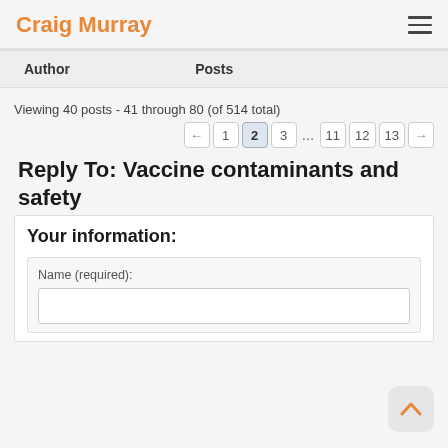Craig Murray
| Author | Posts |
| --- | --- |
Viewing 40 posts - 41 through 80 (of 514 total)
← 1 2 3 … 11 12 13 →
Reply To: Vaccine contaminants and safety
Your information:
Name (required):